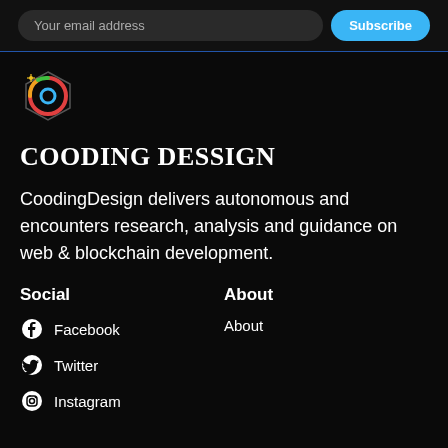Your email address | Subscribe
[Figure (logo): Cooding Dessign colorful hexagon logo]
COODING DESSIGN
CoodingDesign delivers autonomous and encounters research, analysis and guidance on web & blockchain development.
Social
Facebook
Twitter
Instagram
About
About